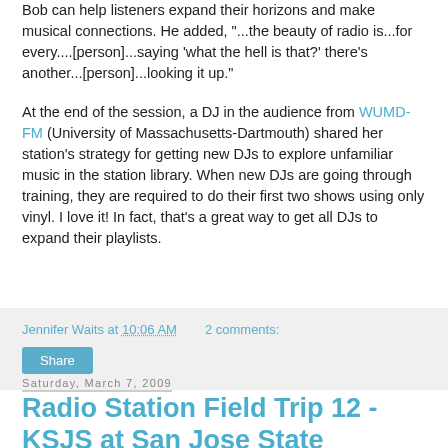Bob can help listeners expand their horizons and make musical connections. He added, "...the beauty of radio is...for every....[person]...saying 'what the hell is that?' there's another...[person]...looking it up."
At the end of the session, a DJ in the audience from WUMD-FM (University of Massachusetts-Dartmouth) shared her station's strategy for getting new DJs to explore unfamiliar music in the station library. When new DJs are going through training, they are required to do their first two shows using only vinyl. I love it! In fact, that's a great way to get all DJs to expand their playlists.
Jennifer Waits at 10:06 AM   2 comments:
Share
Saturday, March 7, 2009
Radio Station Field Trip 12 - KSJS at San Jose State University